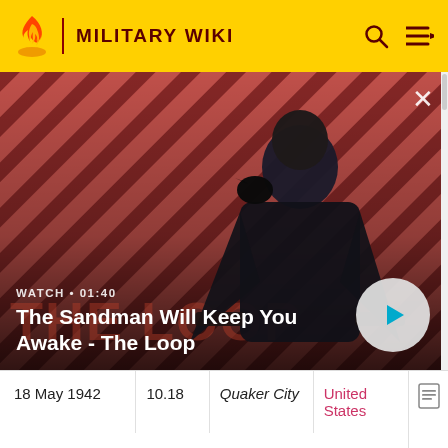MILITARY WIKI
[Figure (screenshot): Video banner showing a dark-cloaked figure with a raven on a red and dark diagonal stripe background. Text overlay: WATCH • 01:40 / The Sandman Will Keep You Awake - The Loop. Play button on the right. Close X button top right.]
| 18 May 1942 | 10.18 | Quaker City | United States |